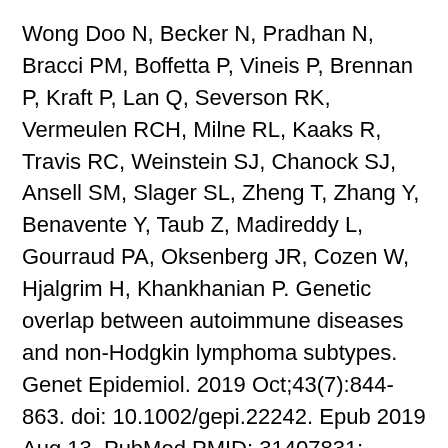Wong Doo N, Becker N, Pradhan N, Bracci PM, Boffetta P, Vineis P, Brennan P, Kraft P, Lan Q, Severson RK, Vermeulen RCH, Milne RL, Kaaks R, Travis RC, Weinstein SJ, Chanock SJ, Ansell SM, Slager SL, Zheng T, Zhang Y, Benavente Y, Taub Z, Madireddy L, Gourraud PA, Oksenberg JR, Cozen W, Hjalgrim H, Khankhanian P. Genetic overlap between autoimmune diseases and non-Hodgkin lymphoma subtypes. Genet Epidemiol. 2019 Oct;43(7):844-863. doi: 10.1002/gepi.22242. Epub 2019 Aug 13. PubMed PMID: 31407831; PubMed Central PMCID: PMC6763347.
Zhong C, Cozen W, Bolanos R, Song J, Wang SS. The role of HLA variation in lymphoma...